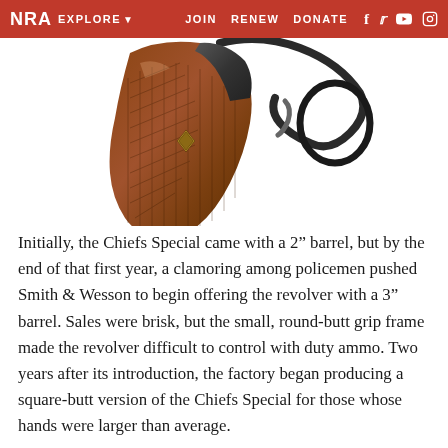NRA EXPLORE  JOIN  RENEW  DONATE
[Figure (photo): Close-up photograph of a revolver handgun showing the wooden checkered grip and metal trigger guard against a white background]
Initially, the Chiefs Special came with a 2" barrel, but by the end of that first year, a clamoring among policemen pushed Smith & Wesson to begin offering the revolver with a 3" barrel. Sales were brisk, but the small, round-butt grip frame made the revolver difficult to control with duty ammo. Two years after its introduction, the factory began producing a square-butt version of the Chiefs Special for those whose hands were larger than average.
The first Chiefs Specials had fixed sights, but